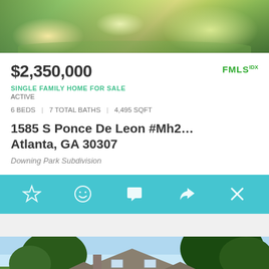[Figure (photo): Garden/landscaping photo showing green shrubs, flowering plants, and a stone pathway]
$2,350,000
[Figure (logo): FMLS IDX logo in green]
SINGLE FAMILY HOME FOR SALE
ACTIVE
6 BEDS | 7 TOTAL BATHS | 4,495 SQFT
1585 S Ponce De Leon #Mh2...
Atlanta, GA 30307
Downing Park Subdivision
[Figure (infographic): Teal action bar with icons: star (favorite), smiley face, chat bubble, share arrow, X (close)]
[Figure (photo): House exterior photo showing a craftsman-style home with trees in background]